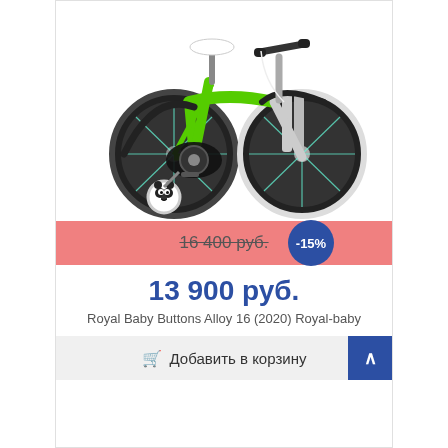[Figure (photo): Green and white children's bicycle (Royal Baby Buttons Alloy 16) with black tires, training wheels with panda face design, blue spoke accents, white seat and front fork]
16 400 руб. -15%
13 900 руб.
Royal Baby Buttons Alloy 16 (2020) Royal-baby
🛒 Добавить в корзину